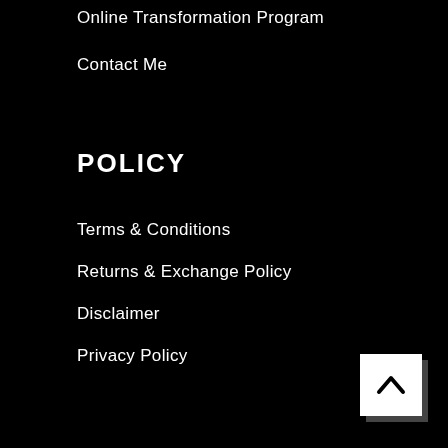Online Transformation Program
Contact Me
POLICY
Terms & Conditions
Returns & Exchange Policy
Disclaimer
Privacy Policy
[Figure (other): Back to top button — white square with upward chevron arrow, drop shadow on bottom-right edge]